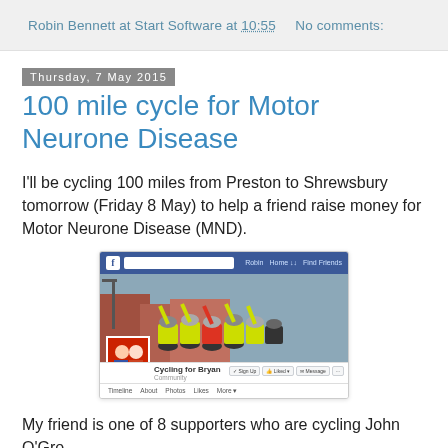Robin Bennett at Start Software at 10:55    No comments:
Thursday, 7 May 2015
100 mile cycle for Motor Neurone Disease
I'll be cycling 100 miles from Preston to Shrewsbury tomorrow (Friday 8 May) to help a friend raise money for Motor Neurone Disease (MND).
[Figure (screenshot): A Facebook page screenshot showing 'Cycling for Bryan' community page with a group of cyclists in high-visibility jackets with arms raised, and a profile photo of two people.]
My friend is one of 8 supporters who are cycling John O'Gro...